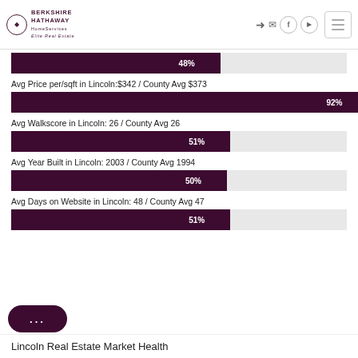Berkshire Hathaway HomeServices Elite Real Estate
[Figure (bar-chart): Lincoln Real Estate Statistics]
Avg Price per/sqft in Lincoln:$342 / County Avg $373
Avg Walkscore in Lincoln: 26 / County Avg 26
Avg Year Built in Lincoln: 2003 / County Avg 1994
Avg Days on Website in Lincoln: 48 / County Avg 47
Lincoln Real Estate Market Health